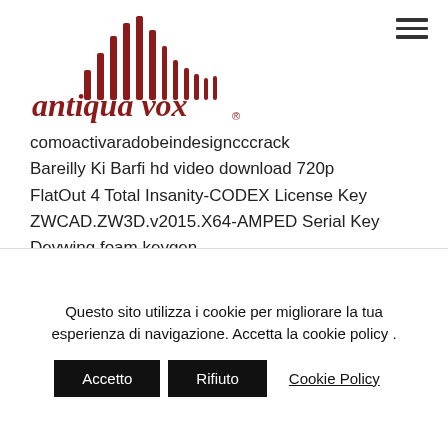[Figure (logo): Antiqua Vox logo with stylized red audio waveform bars and italic red text 'antiqua vox' with registered trademark symbol]
comoactivaradobeindesigncccrack
Bareilly Ki Barfi hd video download 720p
FlatOut 4 Total Insanity-CODEX License Key
ZWCAD.ZW3D.v2015.X64-AMPED Serial Key
Devwing foam keygen
Lg Infineon Flasher Unlocker V121sc By Vygis
Embird 2015 Registration Password 1626l
Adobe Acrobat X Pro Cs6 Crack Amtlibdll
Autodesk Maya 2020 Crack Keygen Full Download
smcuusbs_n2_driver_download_windows_7
Questo sito utilizza i cookie per migliorare la tua esperienza di navigazione. Accetta la cookie policy .
Accetto | Rifiuto | Cookie Policy